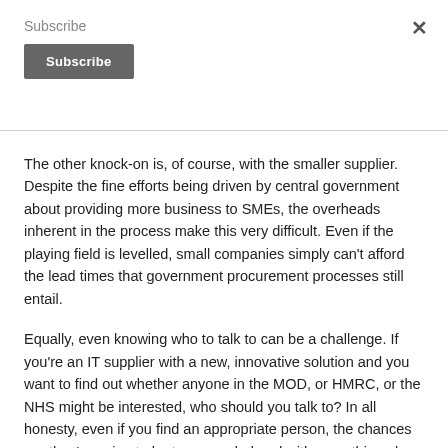Subscribe
The other knock-on is, of course, with the smaller supplier. Despite the fine efforts being driven by central government about providing more business to SMEs, the overheads inherent in the process make this very difficult. Even if the playing field is levelled, small companies simply can't afford the lead times that government procurement processes still entail.
Equally, even knowing who to talk to can be a challenge. If you're an IT supplier with a new, innovative solution and you want to find out whether anyone in the MOD, or HMRC, or the NHS might be interested, who should you talk to? In all honesty, even if you find an appropriate person, the chances are they're going to be too overwhelmed with everything else to have the time.